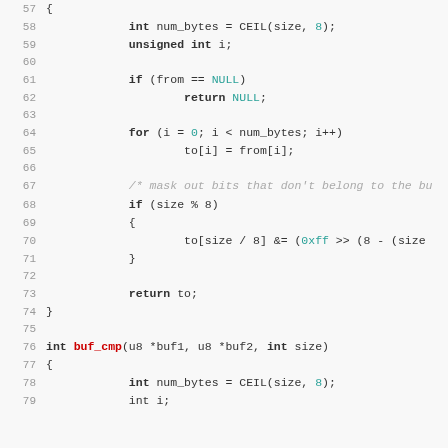[Figure (screenshot): C source code listing showing lines 57-79 of a buffer copy/compare function. Lines include variable declarations, if/for control flow, bitwise masking, and start of buf_cmp function.]